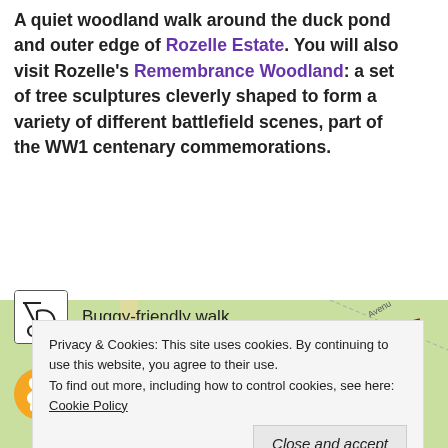A quiet woodland walk around the duck pond and outer edge of Rozelle Estate. You will also visit Rozelle's Remembrance Woodland: a set of tree sculptures cleverly shaped to form a variety of different battlefield scenes, part of the WW1 centenary commemorations.
Buggy-friendly walk
Dog-friendly walk
[Figure (map): Partial map view showing green parkland with red route markings and a road labeled 'Avenua']
Privacy & Cookies: This site uses cookies. By continuing to use this website, you agree to their use. To find out more, including how to control cookies, see here: Cookie Policy
Close and accept